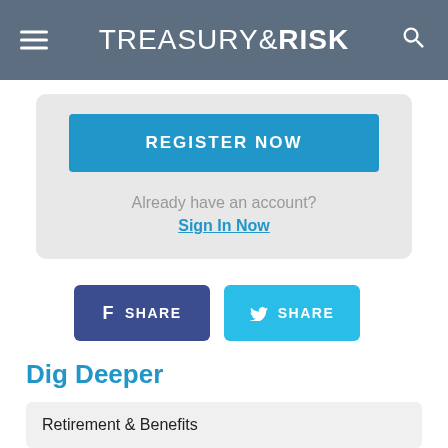TREASURY&RISK
REGISTER NOW
Already have an account?
Sign In Now
[Figure (infographic): Facebook SHARE button (dark blue) and Twitter SHARE button (cyan)]
Dig Deeper
Retirement & Benefits
Governance/Regulation & Compliance